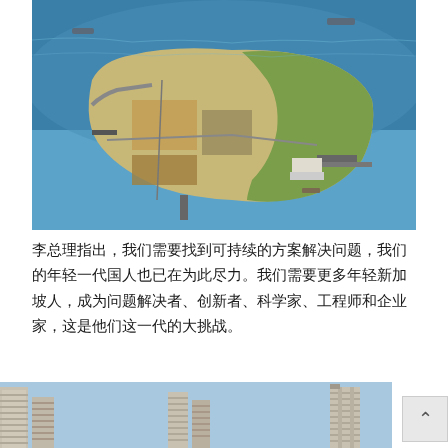[Figure (photo): Aerial photograph of a peninsula or reclaimed island surrounded by blue ocean water, with construction areas, land parcels, and piers/jetties visible. Ships can be seen in the background waters.]
李总理指出，我们需要找到可持续的方案解决问题，我们的年轻一代国人也已在为此尽力。我们需要更多年轻新加坡人，成为问题解决者、创新者、科学家、工程师和企业家，这是他们这一代的大挑战。
[Figure (photo): Partial view of high-rise residential buildings with distinctive balconies and facades against a blue sky.]